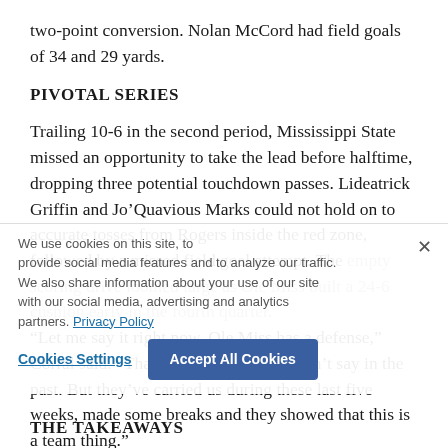two-point conversion. Nolan McCord had field goals of 34 and 29 yards.
PIVOTAL SERIES
Trailing 10-6 in the second period, Mississippi State missed an opportunity to take the lead before halftime, dropping three potential touchdown passes. Lideatrick Griffin and Jo’Quavious Marks could not hold on to accurate tosses from Rogers inside the red zone, followed by a missed field goal attempt. The empty scoring drive loomed large as Ole Miss built a 24-6 cushion early in the fourth quarter.
“Let me say it right now. Ole Miss has a defense,” Corral said. “That’s something we couldn’t say in the past. But they’ve carried us during these last five weeks, made some breaks and they showed that this is a team thing.”
THE TAKEAWAYS